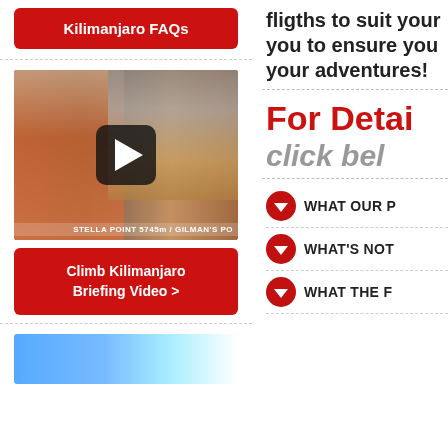[Figure (screenshot): Red button labeled 'Kilimanjaro FAQs' on left column top]
fligths to suit your you to ensure you your adventures!
[Figure (screenshot): Video thumbnail showing a man in red shirt and Kilimanjaro mountain scene with play button overlay, label 'STELLA POINT 5745m / GILMAN'S PO']
[Figure (screenshot): Red button labeled 'Climb Kilimanjaro Briefing Video >']
For Detai
click bel
WHAT OUR P
WHAT'S NOT
WHAT THE F
[Figure (photo): Blue sky/mountain photo at bottom left]